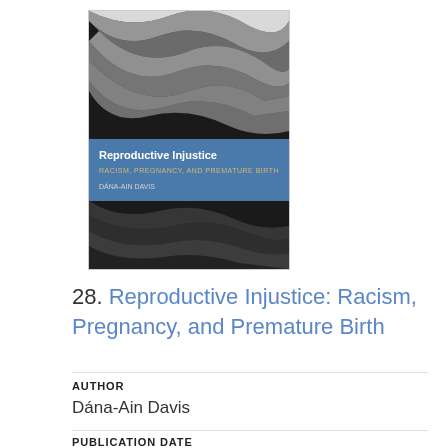[Figure (photo): Book cover of 'Reproductive Injustice: Racism, Pregnancy, and Premature Birth' by Dána-Ain Davis. Top half shows a black-and-white abstract swirling image. Middle has a blue band with the title text in white and gold. Bottom half continues the abstract black and white image.]
28. Reproductive Injustice: Racism, Pregnancy, and Premature Birth
AUTHOR
Dána-Ain Davis
PUBLICATION DATE
2019